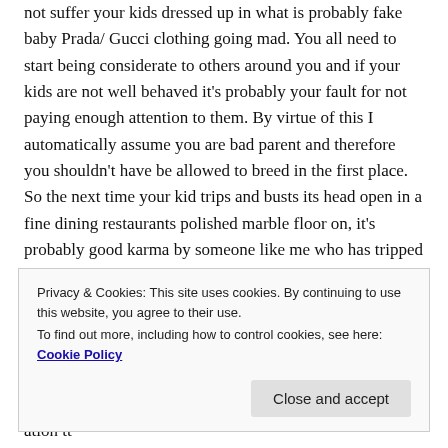not suffer your kids dressed up in what is probably fake baby Prada/ Gucci clothing going mad. You all need to start being considerate to others around you and if your kids are not well behaved it's probably your fault for not paying enough attention to them. By virtue of this I automatically assume you are bad parent and therefore you shouldn't have be allowed to breed in the first place. So the next time your kid trips and busts its head open in a fine dining restaurants polished marble floor on, it's probably good karma by someone like me who has tripped him over just to shut him up or has rubbed chili paste on a treat and fed it to the little
Privacy & Cookies: This site uses cookies. By continuing to use this website, you agree to their use. To find out more, including how to control cookies, see here: Cookie Policy
Close and accept
ation tt